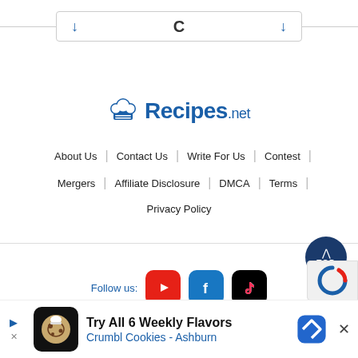[Figure (screenshot): Search bar with down arrows and letter C, styled with border]
[Figure (logo): Recipes.net logo with chef hat icon]
About Us | Contact Us | Write For Us | Contest | Mergers | Affiliate Disclosure | DMCA | Terms | Privacy Policy
[Figure (infographic): Follow us social media icons: YouTube, Facebook, TikTok]
[Figure (screenshot): Ad banner: Try All 6 Weekly Flavors Crumbl Cookies - Ashburn]